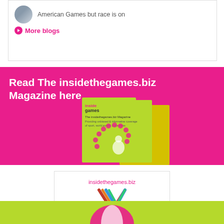American Games but race is on
More blogs
[Figure (illustration): Pink banner with text 'Read The insidethegames.biz Magazine here' and magazine cover images on pink background]
[Figure (logo): FISU Best Media Partner 2019 badge with insidethegames.biz text and FISU logo]
[Figure (illustration): Green/lime banner at bottom, partially visible]